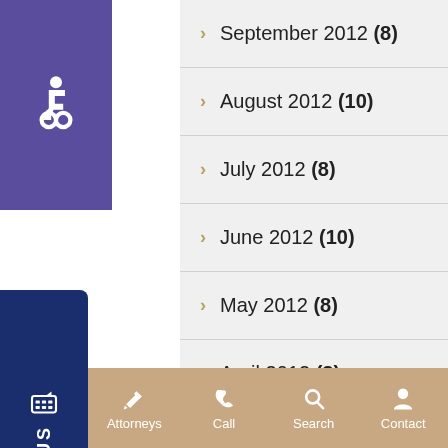September 2012 (8)
August 2012 (10)
July 2012 (8)
June 2012 (10)
May 2012 (8)
April 2012 (8)
March 2012 (10)
Menu  Attorneys  Call  Search  Contact